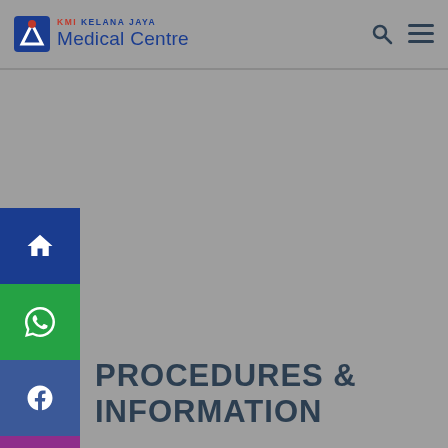KMI KELANA JAYA Medical Centre
PROCEDURES & INFORMATION